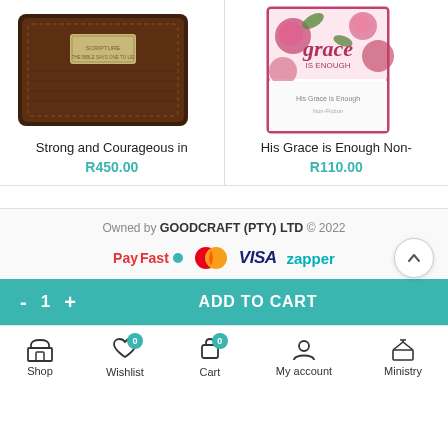[Figure (photo): Product card: brown leather wallet with metal badge, titled 'Strong and Courageous in', priced R450.00]
[Figure (photo): Product card: 'His Grace is Enough' book with floral cover, priced R110.00]
Owned by GOODCRAFT (PTY) LTD © 2022
[Figure (logo): Payment logos: PayFast, Mastercard, VISA, Zapper]
- 1 + ADD TO CART
Shop | Wishlist 0 | Cart 0 | My account | Ministry